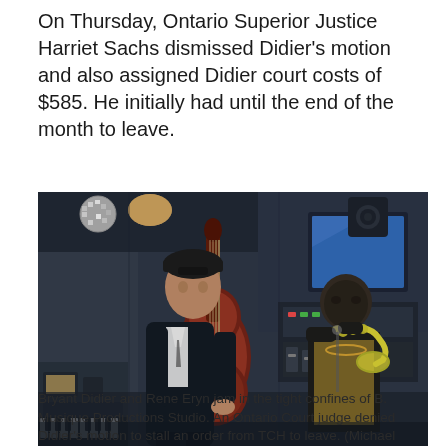On Thursday, Ontario Superior Justice Harriet Sachs dismissed Didier's motion and also assigned Didier court costs of $585. He initially had until the end of the month to leave.
[Figure (photo): Two musicians in a recording studio. One man in a black suit holds a double bass (upright bass) on the left; another person plays a trumpet on the right. The studio has equipment, monitors, and instruments visible in the background.]
Bryant Didier and Rene Eryn jam in the tight confines of B. Musique Productions Studio. An Ontario Court judge denied Didier's motion to stall an order from TCH to leave. (Michael Cole, CBC)